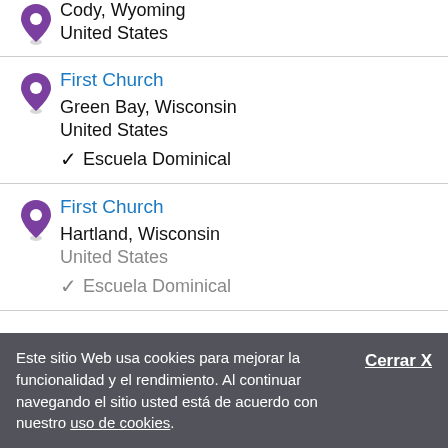Cody, Wyoming
United States
First Church
Green Bay, Wisconsin
United States
✔ Escuela Dominical
First Church
Hartland, Wisconsin
United States
✔ Escuela Dominical
Este sitio Web usa cookies para mejorar la funcionalidad y el rendimiento. Al continuar navegando el sitio usted está de acuerdo con nuestro uso de cookies.